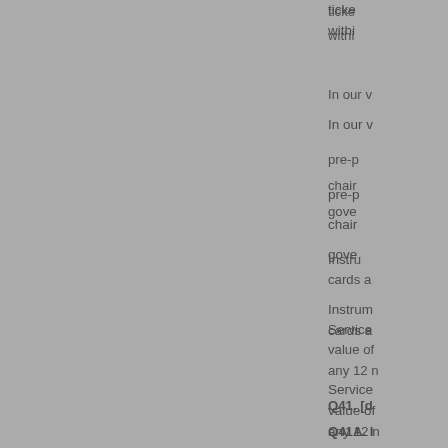ticket… within…
In our v…
pre-p…
chain…
gove…
Instruments… cards a…
Services… value of… any 12 m…
Q41. [d…
Q41A. I…
The 'ele… payment…